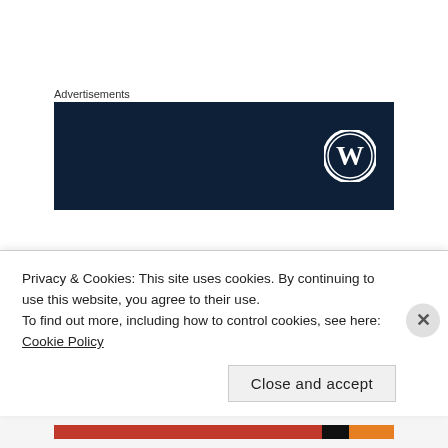Advertisements
[Figure (logo): WordPress logo on dark navy blue advertisement banner background]
In this light, its almost self-aggrandizing to blame our First World incorruptibility on the absorption of certain values. Instead we should recognize that in the background of ostensibly voluntary obedience to the norms of property and exchange is a credible
Privacy & Cookies: This site uses cookies. By continuing to use this website, you agree to their use.
To find out more, including how to control cookies, see here: Cookie Policy
Close and accept